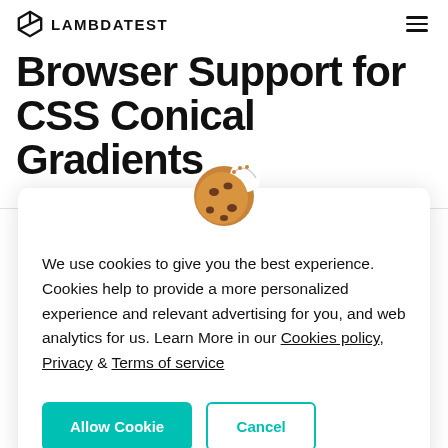LAMBDATEST
Browser Support for CSS Conical Gradients
[Figure (illustration): Cookie emoji (brown cookie with chocolate chips and a bite taken out)]
We use cookies to give you the best experience. Cookies help to provide a more personalized experience and relevant advertising for you, and web analytics for us. Learn More in our Cookies policy, Privacy & Terms of service
Allow Cookie | Cancel